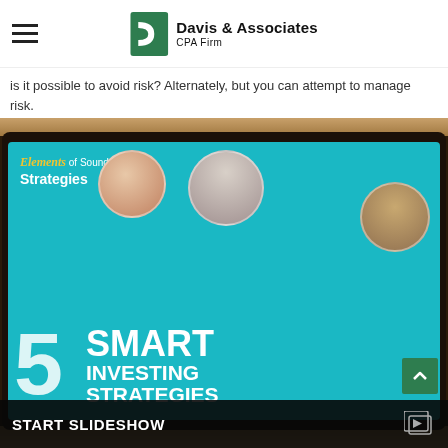Davis & Associates CPA Firm
is it possible to avoid risk? Alternately, but you can attempt to manage risk.
[Figure (photo): A tablet on a wooden surface displaying a slideshow titled '5 Smart Investing Strategies' with images of people and the subtitle 'Elements of Sound Investing Strategies'. Below the image is a dark bar with 'START SLIDESHOW' text and a slideshow icon.]
START SLIDESHOW